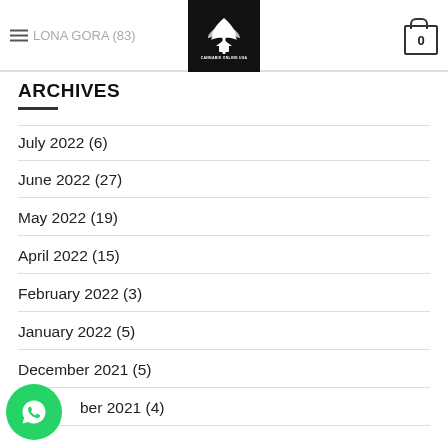≡ LONA GORA (83) | Cannabis Online USA logo | 0
ARCHIVES
July 2022 (6)
June 2022 (27)
May 2022 (19)
April 2022 (15)
February 2022 (3)
January 2022 (5)
December 2021 (5)
...ber 2021 (4)
[Figure (logo): WhatsApp floating button, green circle with phone icon]